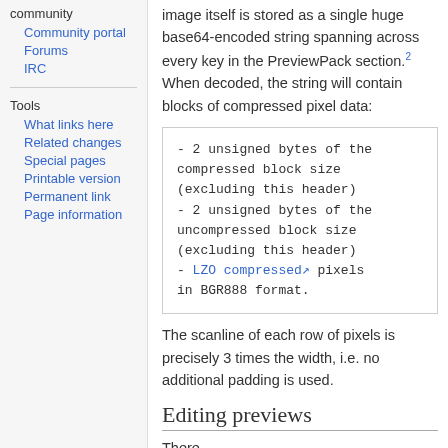community
Community portal
Forums
IRC
Tools
What links here
Related changes
Special pages
Printable version
Permanent link
Page information
image itself is stored as a single huge base64-encoded string spanning across every key in the PreviewPack section.2 When decoded, the string will contain blocks of compressed pixel data:
- 2 unsigned bytes of the compressed block size (excluding this header)
- 2 unsigned bytes of the uncompressed block size (excluding this header)
- LZO compressed pixels in BGR888 format.
The scanline of each row of pixels is precisely 3 times the width, i.e. no additional padding is used.
Editing previews
There